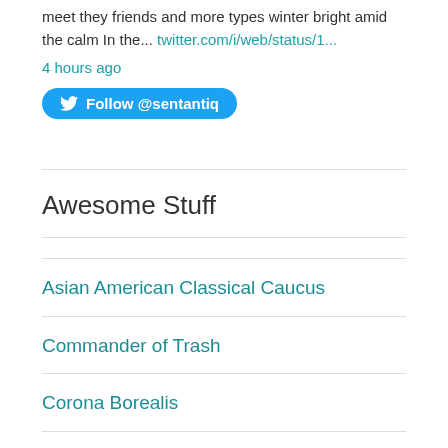meet they friends and more types winter bright amid the calm In the... twitter.com/i/web/status/1...
4 hours ago
Follow @sentantiq
Awesome Stuff
Asian American Classical Caucus
Commander of Trash
Corona Borealis
Dr. Liv Yarrow's Blog
EOS Africana Receptions of Ancient Greece and Rome